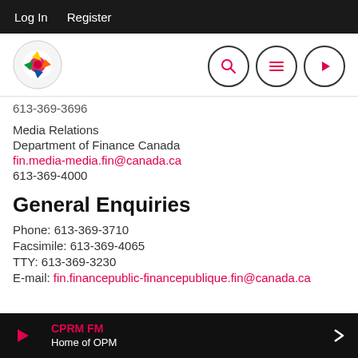Log In   Register
[Figure (logo): CPRM FM radio station logo — circular colorful emblem]
613-369-3696
Media Relations
Department of Finance Canada
fin.media-media.fin@canada.ca
613-369-4000
General Enquiries
Phone: 613-369-3710
Facsimile: 613-369-4065
TTY: 613-369-3230
E-mail: fin.financepublic-financepublique.fin@canada.ca
CPRM FM — Home of OPM